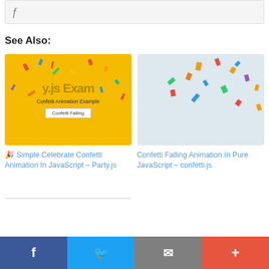[Figure (screenshot): Top portion of a code snippet or article page with light gray background]
See Also:
[Figure (screenshot): Thumbnail for Simple Celebrate Confetti Animation In JavaScript – Party.js showing a yellow background with confetti pieces, subtitle 'Confetti Animation Example' and a 'Confetti Falling' button]
🎉 Simple Celebrate Confetti Animation In JavaScript – Party.js
[Figure (screenshot): Thumbnail for Confetti Falling Animation In Pure JavaScript – confetti.js showing a light blue background with scattered colorful confetti pieces]
Confetti Falling Animation In Pure JavaScript – confetti.js
Facebook | Twitter | Email | More